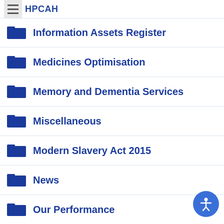HPCAH
Information Assets Register
Medicines Optimisation
Memory and Dementia Services
Miscellaneous
Modern Slavery Act 2015
News
Our Performance
Patient Board Recruitment
Policies